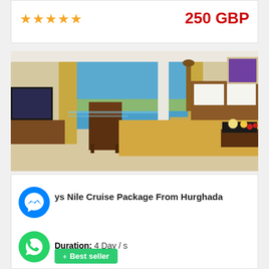★★★★★
250 GBP
[Figure (photo): Luxury cruise ship cabin with large window overlooking river/sea, wooden furniture, large bed with white pillows, breakfast tray, golden curtains, water and greenery visible outside]
ys Nile Cruise Package From Hurghada
Duration: 4 Day / s
Best seller